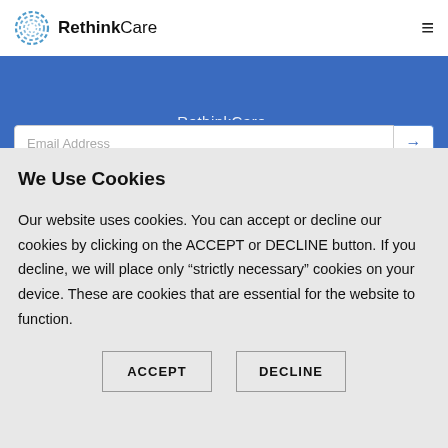RethinkCare — navigation bar with logo and hamburger menu
[Figure (screenshot): Blue banner with text 'RethinkCare.' and email address input field with arrow button]
We Use Cookies
Our website uses cookies. You can accept or decline our cookies by clicking on the ACCEPT or DECLINE button. If you decline, we will place only “strictly necessary” cookies on your device. These are cookies that are essential for the website to function.
ACCEPT   DECLINE